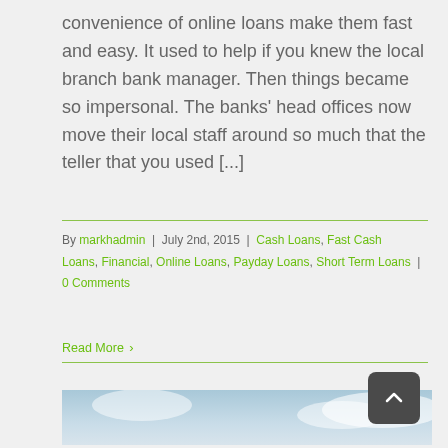convenience of online loans make them fast and easy. It used to help if you knew the local branch bank manager. Then things became so impersonal. The banks' head offices now move their local staff around so much that the teller that you used [...]
By markhadmin | July 2nd, 2015 | Cash Loans, Fast Cash Loans, Financial, Online Loans, Payday Loans, Short Term Loans | 0 Comments
Read More >
[Figure (photo): Partial image of a person visible at the bottom of the page, appearing to show hands or upper body against a light background]